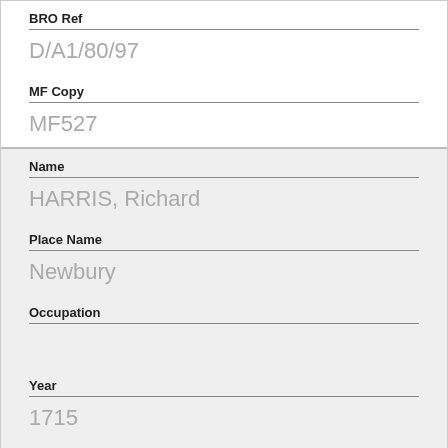BRO Ref
D/A1/80/97
MF Copy
MF527
Name
HARRIS, Richard
Place Name
Newbury
Occupation
Year
1715
BRO Ref